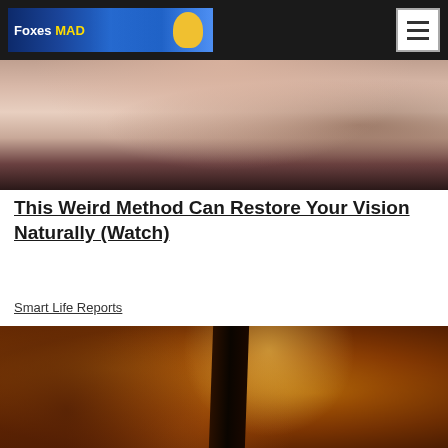Foxes MAD [navigation advertisement banner with hamburger menu button]
[Figure (photo): Close-up photo of a person's lower face/chin area with dark hair, skin tone background]
This Weird Method Can Restore Your Vision Naturally (Watch)
Smart Life Reports
[Figure (photo): Close-up macro photo of two pieces of golden-brown toasted bread showing texture and color]